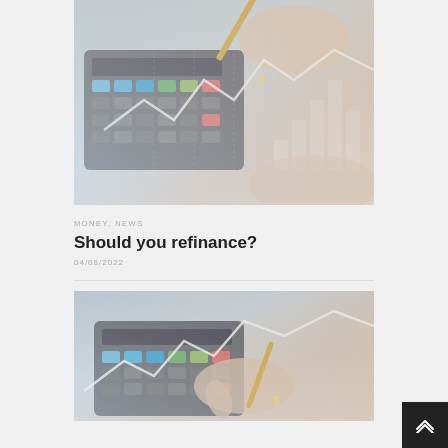[Figure (photo): Calculator with pencil and hand, financial chart bars overlay, blue-pink tones]
MONEY, NEWS
Should you refinance?
04/08/2022
[Figure (photo): Hand with pencil pointing at calculator, financial chart overlay, similar to top image]